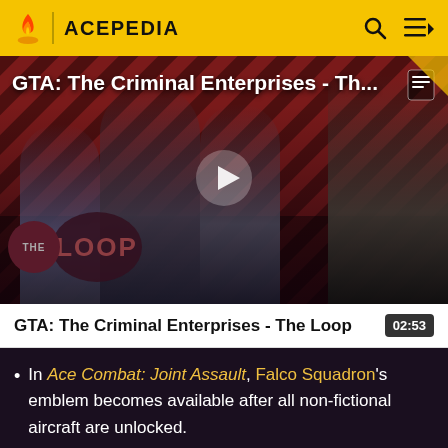ACEPEDIA
[Figure (screenshot): Video thumbnail for 'GTA: The Criminal Enterprises - Th...' showing game characters on a red/dark diagonal stripe background with 'THE LOOP' logo and a play button overlay]
GTA: The Criminal Enterprises - The Loop
02:53
In Ace Combat: Joint Assault, Falco Squadron's emblem becomes available after all non-fictional aircraft are unlocked.